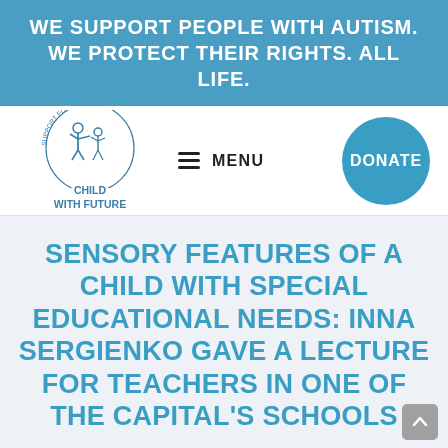WE SUPPORT PEOPLE WITH AUTISM. WE PROTECT THEIR RIGHTS. ALL LIFE.
[Figure (logo): Children with Autism Support Foundation circular logo with stylized figures, labeled CHILD WITH FUTURE]
MENU
DONATE
SENSORY FEATURES OF A CHILD WITH SPECIAL EDUCATIONAL NEEDS: INNA SERGIENKO GAVE A LECTURE FOR TEACHERS IN ONE OF THE CAPITAL'S SCHOOLS